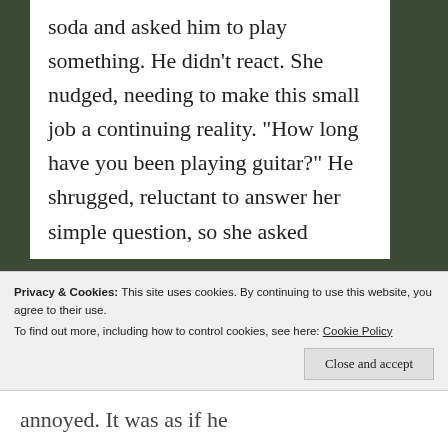soda and asked him to play something. He didn’t react. She nudged, needing to make this small job a continuing reality. “How long have you been playing guitar?” He shrugged, reluctant to answer her simple question, so she asked
Privacy & Cookies: This site uses cookies. By continuing to use this website, you agree to their use.
To find out more, including how to control cookies, see here: Cookie Policy
Close and accept
annoyed. It was as if he